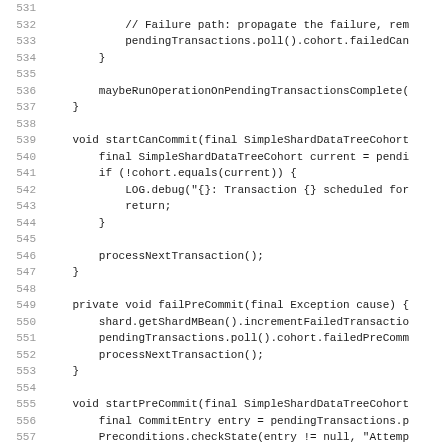[Figure (screenshot): Source code listing showing Java methods: startCanCommit, failPreCommit, startPreCommit. Lines 531-562 are visible. Gray line numbers on the left, monospace code on the right. White background.]